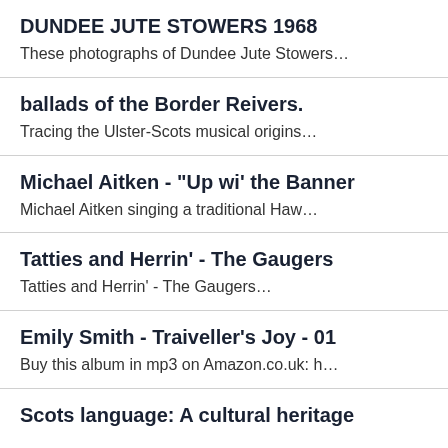DUNDEE JUTE STOWERS 1968
These photographs of Dundee Jute Stowers…
ballads of the Border Reivers.
Tracing the Ulster-Scots musical origins…
Michael Aitken - "Up wi' the Banner
Michael Aitken singing a traditional Haw…
Tatties and Herrin' - The Gaugers
Tatties and Herrin' - The Gaugers…
Emily Smith - Traiveller's Joy - 01
Buy this album in mp3 on Amazon.co.uk: h…
Scots language: A cultural heritage